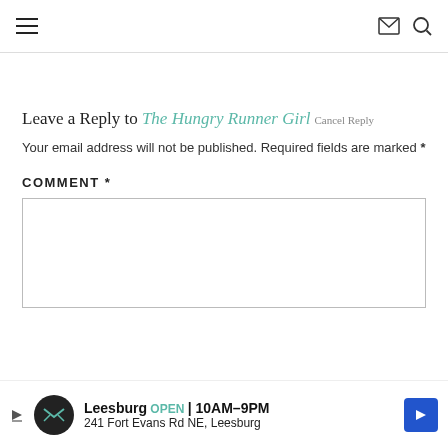☰ [hamburger menu] [envelope icon] [search icon]
Leave a Reply to The Hungry Runner Girl Cancel Reply
Your email address will not be published. Required fields are marked *
COMMENT *
[Figure (screenshot): Comment text input box (empty form field)]
[Figure (infographic): Advertisement banner: Leesburg OPEN 10AM-9PM, 241 Fort Evans Rd NE, Leesburg with logo and arrow]